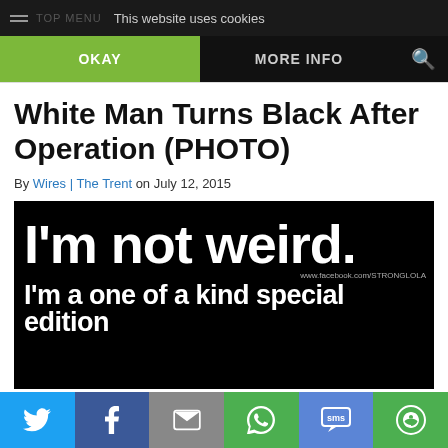This website uses cookies
OKAY | MORE INFO
White Man Turns Black After Operation (PHOTO)
By Wires | The Trent on July 12, 2015
[Figure (photo): Black background image with large white bold text reading 'I'm not weird.' and smaller text below 'I'm a one of a kind special edition' with watermark www.facebook.com/STRONGLOLA]
Social share buttons: Twitter, Facebook, Email, WhatsApp, SMS, More